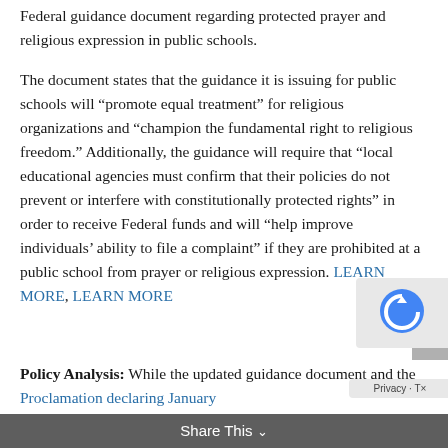Federal guidance document regarding protected prayer and religious expression in public schools.
The document states that the guidance it is issuing for public schools will “promote equal treatment” for religious organizations and “champion the fundamental right to religious freedom.” Additionally, the guidance will require that “local educational agencies must confirm that their policies do not prevent or interfere with constitutionally protected rights” in order to receive Federal funds and will “help improve individuals’ ability to file a complaint” if they are prohibited at a public school from prayer or religious expression. LEARN MORE, LEARN MORE
Policy Analysis: While the updated guidance document and the Proclamation declaring January
Share This ⌄